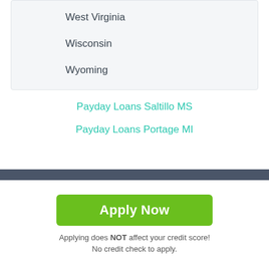West Virginia
Wisconsin
Wyoming
Payday Loans Saltillo MS
Payday Loans Portage MI
Apply Now
Applying does NOT affect your credit score!
No credit check to apply.